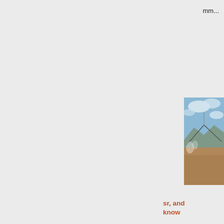mm...
[Figure (photo): Outdoor photo showing an irrigation pivot or large metal structure/arch in a field under a partly cloudy sky with hills in the background.]
sr, and know
The se guide, S The 10 patente 900-se roller a rdsham